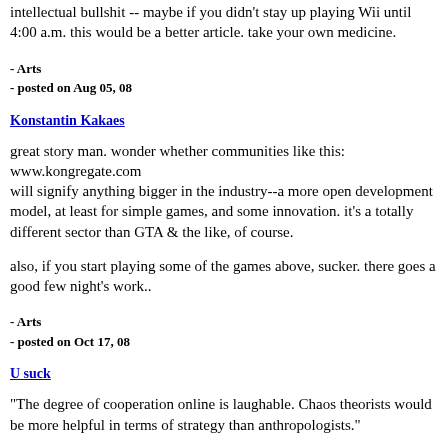intellectual bullshit -- maybe if you didn't stay up playing Wii until 4:00 a.m. this would be a better article. take your own medicine.
- Arts
- posted on Aug 05, 08
Konstantin Kakaes
great story man. wonder whether communities like this: www.kongregate.com will signify anything bigger in the industry--a more open development model, at least for simple games, and some innovation. it's a totally different sector than GTA & the like, of course.
also, if you start playing some of the games above, sucker. there goes a good few night's work..
- Arts
- posted on Oct 17, 08
U suck
"The degree of cooperation online is laughable. Chaos theorists would be more helpful in terms of strategy than anthropologists."